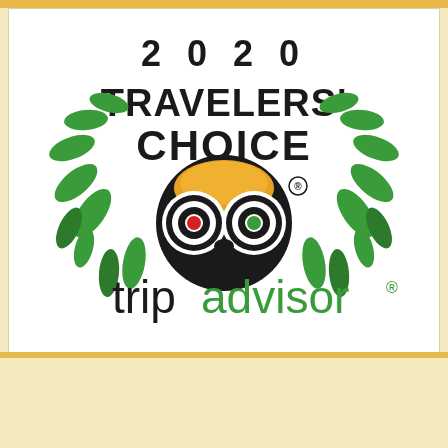[Figure (logo): TripAdvisor 2020 Travelers' Choice award logo with owl icon and green laurel wreath on white background]